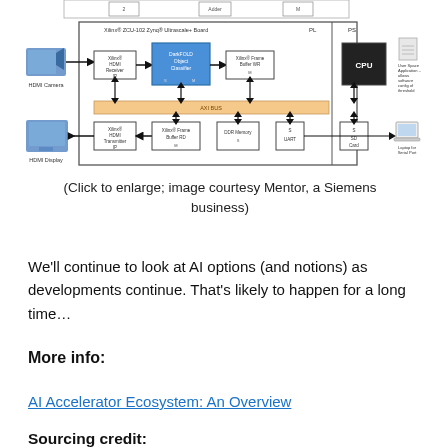[Figure (schematic): Block diagram of Xilinx ZCU-102 Zynq UltraScale+ Board showing HDMI Camera input, Xilinx HDMI Receiver IP, DarkFOLD Object Classifier, Xilinx Frame Buffer WR, CPU (PS), User Space Application, Xilinx Frame Buffer RD, HDMI Transmitter IP, DDR Memory, SD Card, UART, Laptop for Serial Port, and HDMI Display output, connected via AXI Bus. PL and PS sections labeled.]
(Click to enlarge; image courtesy Mentor, a Siemens business)
We'll continue to look at AI options (and notions) as developments continue. That's likely to happen for a long time…
More info:
AI Accelerator Ecosystem: An Overview
Sourcing credit: